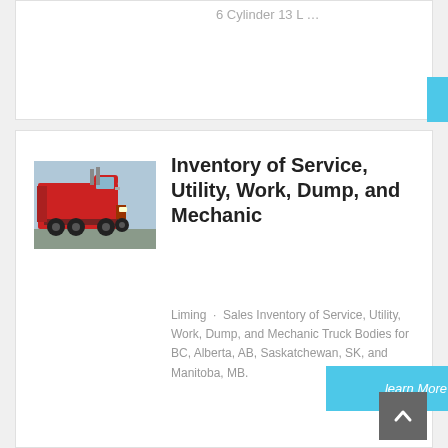6 Cylinder 13 L …
learn More
[Figure (photo): Red semi-truck / tractor unit parked in a lot with other red trucks, side/front view]
Inventory of Service, Utility, Work, Dump, and Mechanic
Liming · Sales Inventory of Service, Utility, Work, Dump, and Mechanic Truck Bodies for BC, Alberta, AB, Saskatchewan, SK, and Manitoba, MB.
learn More